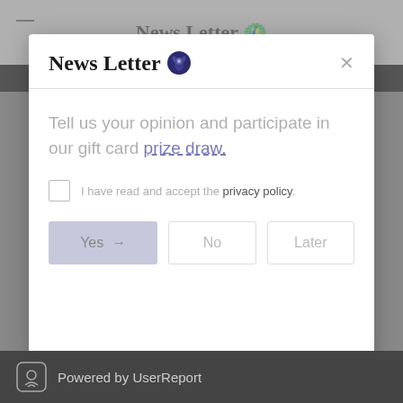News Letter
News Letter
Tell us your opinion and participate in our gift card prize draw.
I have read and accept the privacy policy.
Yes → No Later
Powered by UserReport